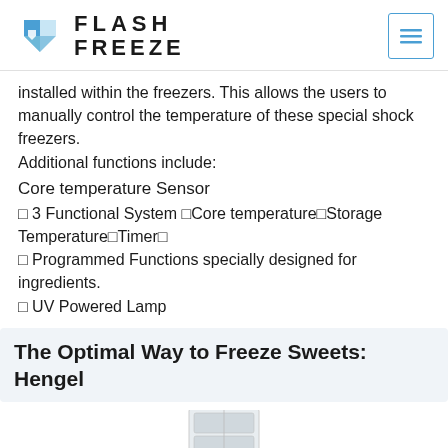FLASH FREEZE [logo with hamburger menu]
installed within the freezers. This allows the users to manually control the temperature of these special shock freezers.
Additional functions include:
Core temperature Sensor
□ 3 Functional System □Core temperature□Storage Temperature□Timer□
□ Programmed Functions specially designed for ingredients.
□ UV Powered Lamp
The Optimal Way to Freeze Sweets: Hengel
[Figure (photo): Partial view of a Hengel freezer unit at the bottom of the page]